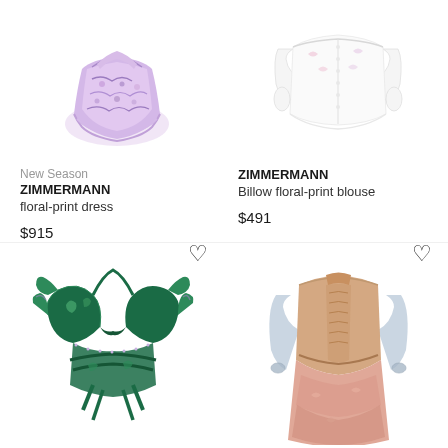[Figure (photo): Zimmermann floral-print dress in pink/purple floral pattern, ruffled mini dress]
[Figure (photo): Zimmermann Billow floral-print blouse in white with floral embroidery, off-shoulder style]
New Season
ZIMMERMANN
floral-print dress
$915
ZIMMERMANN
Billow floral-print blouse
$491
[Figure (photo): Zimmermann green paisley bikini top with ruffled edges and strappy bottom, dark green floral print]
[Figure (photo): Zimmermann long dress in pastel peach/pink with sheer blue-grey sleeves and lace trim details]